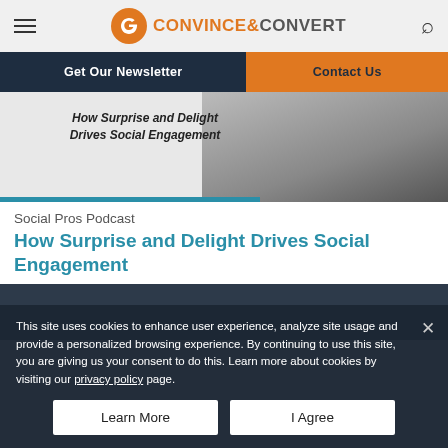Convince & Convert
[Figure (screenshot): Navigation bar with Get Our Newsletter and Contact Us buttons, and hero image showing a woman with text 'How Surprise and Delight Drives Social Engagement' and a teal underline bar]
Social Pros Podcast
How Surprise and Delight Drives Social Engagement
This site uses cookies to enhance user experience, analyze site usage and provide a personalized browsing experience. By continuing to use this site, you are giving us your consent to do this. Learn more about cookies by visiting our privacy policy page.